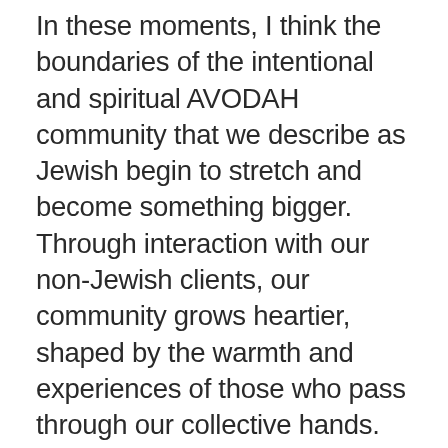In these moments, I think the boundaries of the intentional and spiritual AVODAH community that we describe as Jewish begin to stretch and become something bigger. Through interaction with our non-Jewish clients, our community grows heartier, shaped by the warmth and experiences of those who pass through our collective hands. The Judaism we associate with communal Shabbats and kosher kitchens stretches to include those moments when together as Avodahniks, we are able to touch others and bring them into the warmth of our community.
May your Thanksgivukkah be filled with the forth warmth of...